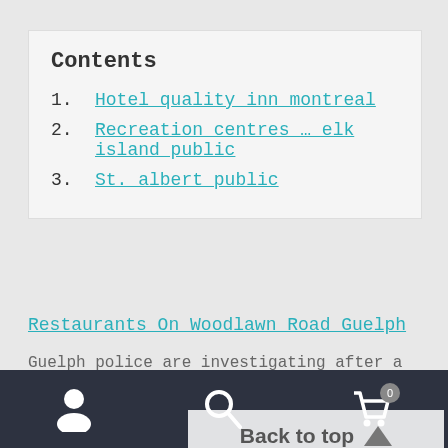Contents
1. Hotel quality inn montreal
2. Recreation centres … elk island public
3. St. albert public
Restaurants On Woodlawn Road Guelph
Guelph police are investigating after a person was found deceased in the city's north end Wednesday evening. hotel quality inn montreal
Back to top
Navigation bar with person, search, and cart (0) icons